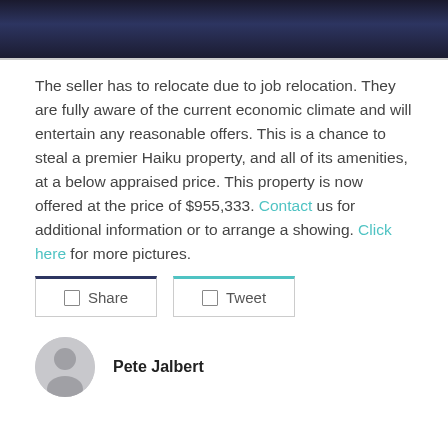[Figure (photo): Dark night sky / landscape photo strip at the top of the page]
The seller has to relocate due to job relocation. They are fully aware of the current economic climate and will entertain any reasonable offers. This is a chance to steal a premier Haiku property, and all of its amenities, at a below appraised price. This property is now offered at the price of $955,333. Contact us for additional information or to arrange a showing. Click here for more pictures.
Share  Tweet
Pete Jalbert